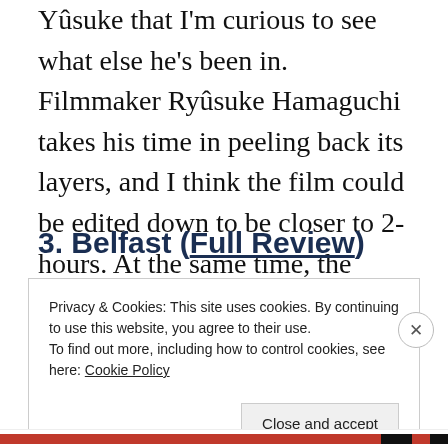Yûsuke that I'm curious to see what else he's been in. Filmmaker Ryûsuke Hamaguchi takes his time in peeling back its layers, and I think the film could be edited down to be closer to 2-hours. At the same time, the slow, atmospheric ride is a captivating one that does reward my patience.
3. Belfast (Full Review)
Privacy & Cookies: This site uses cookies. By continuing to use this website, you agree to their use.
To find out more, including how to control cookies, see here: Cookie Policy